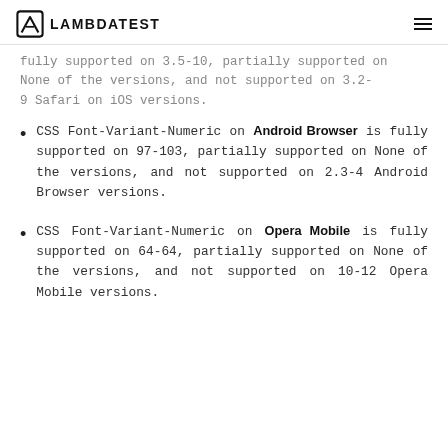LAMBDATEST
fully supported on 3.5-10, partially supported on None of the versions, and not supported on 3.2-9 Safari on iOS versions.
CSS Font-Variant-Numeric on Android Browser is fully supported on 97-103, partially supported on None of the versions, and not supported on 2.3-4 Android Browser versions.
CSS Font-Variant-Numeric on Opera Mobile is fully supported on 64-64, partially supported on None of the versions, and not supported on 10-12 Opera Mobile versions.